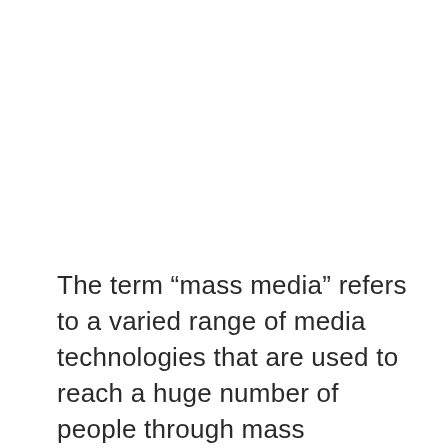The term “mass media” refers to a varied range of media technologies that are used to reach a huge number of people through mass communication. Print media, which includes books, comic books, magazines, newspapers, and pamphlets, transfer information via the use of tangible items. Event planning and public speaking are both regarded to